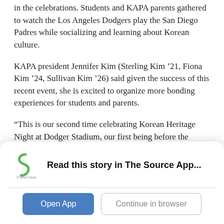in the celebrations. Students and KAPA parents gathered to watch the Los Angeles Dodgers play the San Diego Padres while socializing and learning about Korean culture.
KAPA president Jennifer Kim (Sterling Kim '21, Fiona Kim '24, Sullivan Kim '26) said given the success of this recent event, she is excited to organize more bonding experiences for students and parents.
“This is our second time celebrating Korean Heritage Night at Dodger Stadium, our first being before the pandemic, and it was a great experience,” Kim said. “We got to watch dancers perform a Korean-style fan dance, and Dodger Stadium handed out exclusive baseball caps for attendees.
Read this story in The Source App...
Open App
Continue in browser